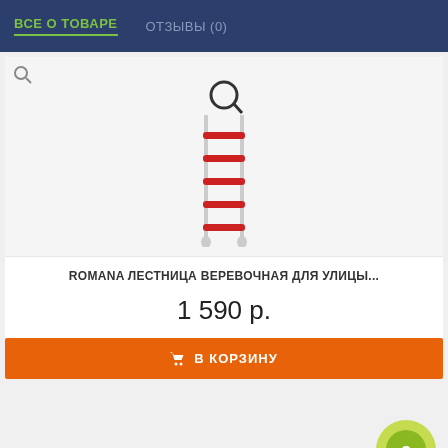ВСЕ О ТОВАРЕ  ОТЗЫВЫ (0)
[Figure (photo): Product image of a rope ladder (Romana) with red rungs and white ropes, shown hanging vertically. A search/zoom icon is visible in the upper area.]
ROMANA ЛЕСТНИЦА ВЕРЕВОЧНАЯ ДЛЯ УЛИЦЫ...
1 590 р.
В КОРЗИНУ
[Figure (logo): BABY logo with colorful letters: B in yellow, A in pink, B in blue, Y in green, partially visible. A green circular badge on the right side.]